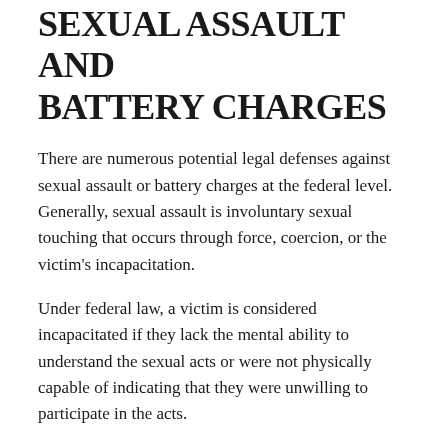SEXUAL ASSAULT AND BATTERY CHARGES
There are numerous potential legal defenses against sexual assault or battery charges at the federal level. Generally, sexual assault is involuntary sexual touching that occurs through force, coercion, or the victim's incapacitation.
Under federal law, a victim is considered incapacitated if they lack the mental ability to understand the sexual acts or were not physically capable of indicating that they were unwilling to participate in the acts.
Thus, there are some defenses to sexual assault and battery charges that can challenge the definitions or elements of the crime.
For instance, in a sexual assault defense where the victim was under the age of 16, the defendant may